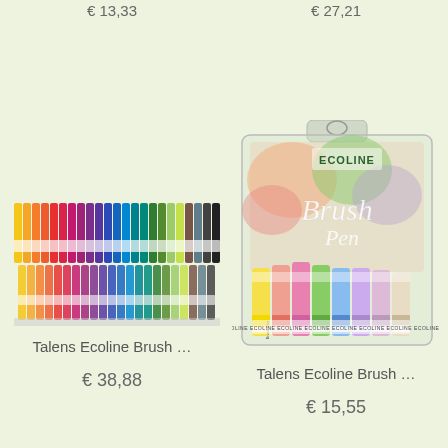€ 13,33
€ 27,21
[Figure (photo): Row of Talens Ecoline brush pens/markers in multiple colors arranged in a horizontal display]
[Figure (photo): Talens Ecoline Brush Pen set in pastel colors in clear retail packaging with Ecoline logo]
Talens Ecoline Brush …
Talens Ecoline Brush …
€ 38,88
€ 15,55